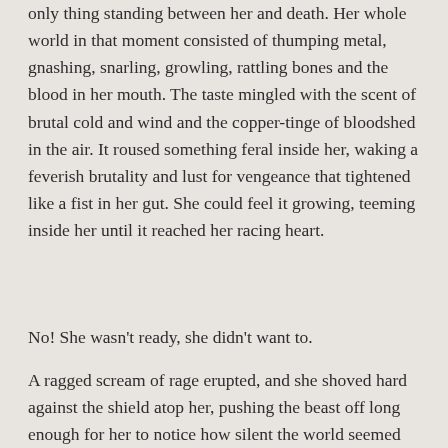only thing standing between her and death. Her whole world in that moment consisted of thumping metal, gnashing, snarling, growling, rattling bones and the blood in her mouth. The taste mingled with the scent of brutal cold and wind and the copper-tinge of bloodshed in the air. It roused something feral inside her, waking a feverish brutality and lust for vengeance that tightened like a fist in her gut. She could feel it growing, teeming inside her until it reached her racing heart.
No! She wasn't ready, she didn't want to.
A ragged scream of rage erupted, and she shoved hard against the shield atop her, pushing the beast off long enough for her to notice how silent the world seemed even amid the fighting. Clarity, crisp